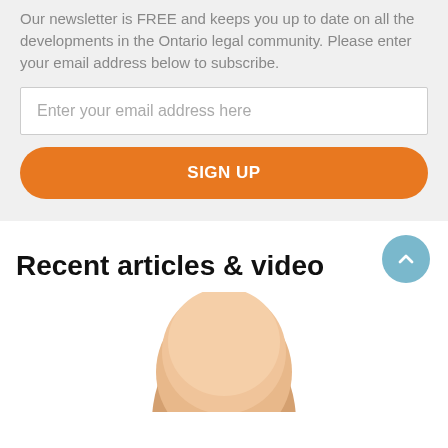Our newsletter is FREE and keeps you up to date on all the developments in the Ontario legal community. Please enter your email address below to subscribe.
Enter your email address here
SIGN UP
Recent articles & video
[Figure (photo): Partial photo of a bald person's head from above, cropped at bottom of page]